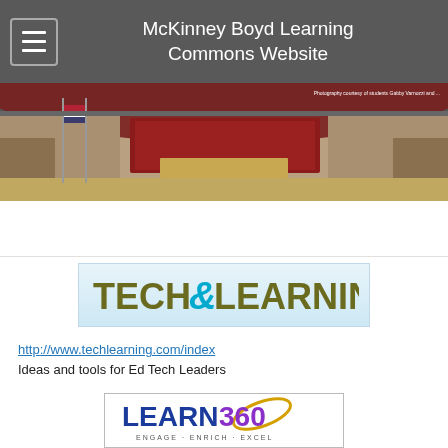McKinney Boyd Learning Commons Website
[Figure (photo): Interior photo of McKinney Boyd school library/learning commons with flags and shelving. Photography credit shown in top right corner.]
[Figure (logo): Tech & Learning logo - olive/dark yellow text with cyan ampersand on light blue gradient background]
http://www.techlearning.com/index
Ideas and tools for Ed Tech Leaders
[Figure (logo): Learn360 logo - blue and purple text with yellow orbit graphic, tagline: ENGAGE · ENRICH · EXCEL]